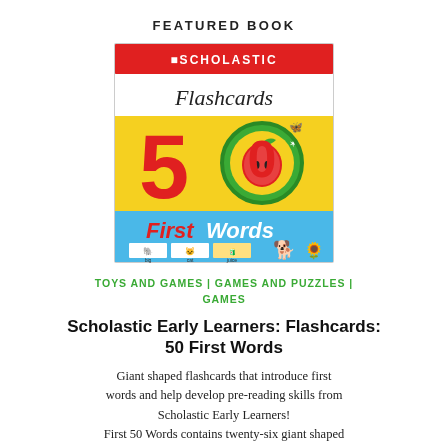FEATURED BOOK
[Figure (illustration): Book cover of Scholastic Early Learners: Flashcards: 50 First Words. Top red banner with Scholastic logo, white section with 'Flashcards' text, yellow section with large red '5' and '0' with a green circle containing an apple illustration, and blue bottom section with 'First Words' text and flashcard images of animals and objects.]
TOYS AND GAMES | GAMES AND PUZZLES | GAMES
Scholastic Early Learners: Flashcards: 50 First Words
Giant shaped flashcards that introduce first words and help develop pre-reading skills from Scholastic Early Learners! First 50 Words contains twenty-six giant shaped flashcards designed to help children recognize